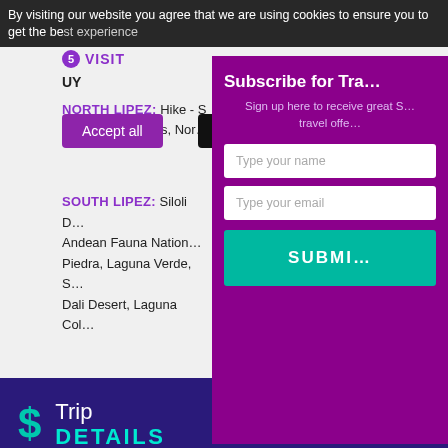By visiting our website you agree that we are using cookies to ensure you to get the best experience
VISIT
UY
NORTH LIPEZ: Hike - Pedro de Quemes, Nor...
SOUTH LIPEZ: Siloli Desert, Andean Fauna National... Piedra, Laguna Verde, S... Dali Desert, Laguna Col...
[Figure (screenshot): Subscribe for Travel modal overlay with purple background, name/email input fields, and teal SUBMIT button]
Accept all
Decli...
Subscribe for Tra...
Sign up here to receive great S... travel offe...
Type your name
Type your email
SUBMI...
$ Trip DETAILS
Itinerary